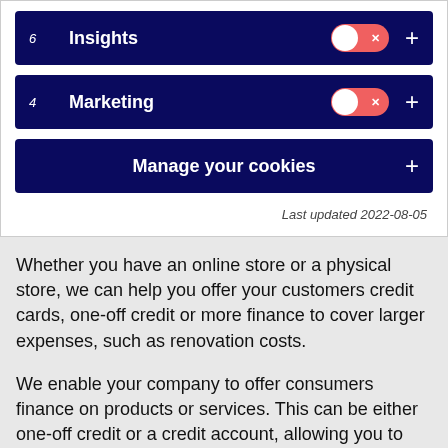[Figure (screenshot): Cookie consent UI showing two toggle rows: '6 Insights' with a red toggle and '+' button, '4 Marketing' with a red toggle and '+' button, then a 'Manage your cookies' row with a '+' button, followed by 'Last updated 2022-08-05' text.]
Whether you have an online store or a physical store, we can help you offer your customers credit cards, one-off credit or more finance to cover larger expenses, such as renovation costs.
We enable your company to offer consumers finance on products or services. This can be either one-off credit or a credit account, allowing you to choose the right fit for